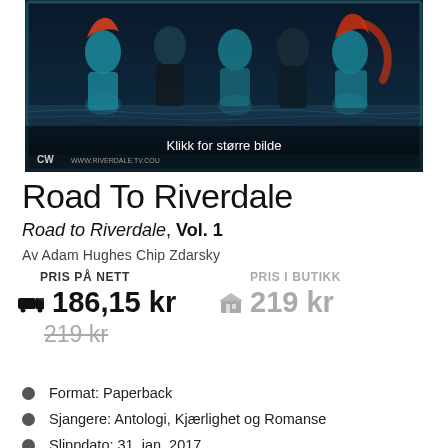[Figure (photo): Book cover image for Road To Riverdale showing stylized characters from the Riverdale TV show in teal and orange tones against a dark blue background, with 'Klikk for større bilde' overlay text]
Road To Riverdale
Road to Riverdale, Vol. 1
Av Adam Hughes Chip Zdarsky
PRIS PÅ NETT
PRIS I BUTIKK
186,15 kr
219 kr
219 kr (strikethrough)
Format: Paperback
Sjangere: Antologi, Kjærlighet og Romanse
Slippdato: 31. jan. 2017
Forlag: Archie Comic Publications